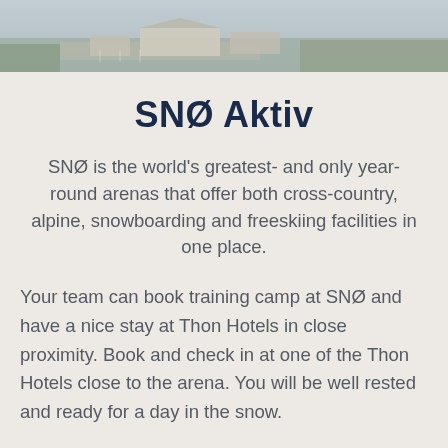[Figure (photo): Aerial photograph of SNØ arena facility and surrounding area, shown as a strip at top of page]
SNØ Aktiv
SNØ is the world's greatest- and only year-round arenas that offer both cross-country, alpine, snowboarding and freeskiing facilities in one place.
Your team can book training camp at SNØ and have a nice stay at Thon Hotels in close proximity. Book and check in at one of the Thon Hotels close to the arena. You will be well rested and ready for a day in the snow.